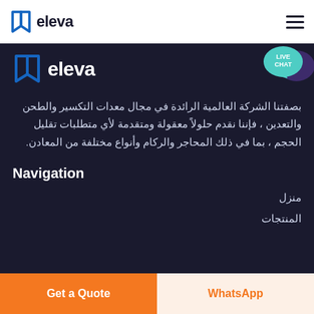eleva
[Figure (logo): Eleva logo with book icon and 'eleva' text in dark section]
بصفتنا الشركة العالمية الرائدة في مجال معدات التكسير والطحن والتعدين ، فإننا نقدم حلولاً معقولة ومتقدمة لأي متطلبات تقليل الحجم ، بما في ذلك المحاجر والركام وأنواع مختلفة من المعادن.
Navigation
منزل
المنتجات